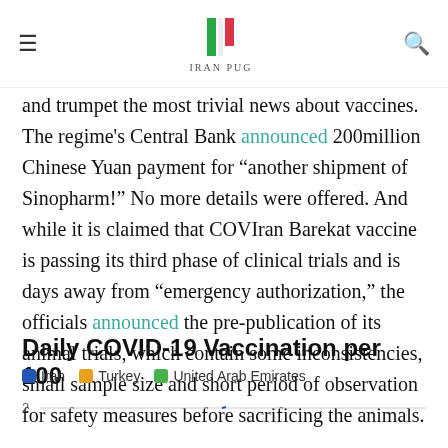≡  [Iran Pug logo]  🔍
and trumpet the most trivial news about vaccines. The regime's Central Bank announced 200million Chinese Yuan payment for "another shipment of Sinopharm!" No more details were offered. And while it is claimed that COVIran Barekat vaccine is passing its third phase of clinical trials and is days away from "emergency authorization," the officials announced the pre-publication of its animal trials, which contain some inconsistencies, small sample size and short period of observation for safety measures before sacrificing the animals.
Daily COVID-19 Vaccination per 100
[Figure (line-chart): Partial line chart visible at bottom of page showing daily COVID-19 vaccination per 100 people for Iran, Turkey, and United Arab Emirates. Y-axis shows value of 2 visible. Chart is cropped.]